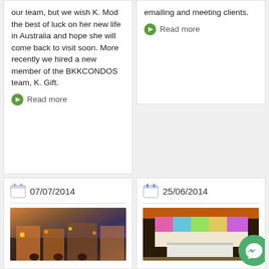our team, but we wish K. Mod the best of luck on her new life in Australia and hope she will come back to visit soon. More recently we hired a new member of the BKKCONDOS team, K. Gift.
Read more
emailing and meeting clients.
Read more
07/07/2014
[Figure (photo): Street scene at dusk with shops and people]
25/06/2014
[Figure (photo): Modern interior lobby with colorful decorative wall]